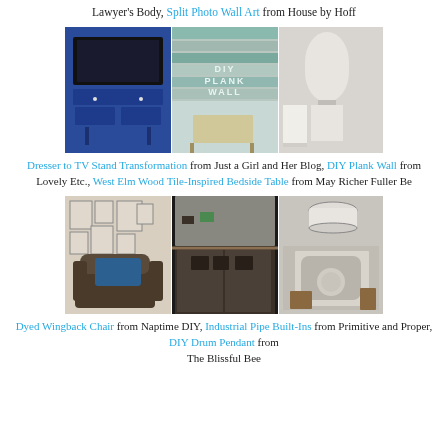Lawyer's Body, Split Photo Wall Art from House by Hoff
[Figure (photo): Three-panel collage: blue dresser TV stand, DIY plank wall, West Elm bedside table]
Dresser to TV Stand Transformation from Just a Girl and Her Blog, DIY Plank Wall from Lovely Etc., West Elm Wood Tile-Inspired Bedside Table from May Richer Fuller Be
[Figure (photo): Three-panel collage: dyed wingback chair, industrial pipe built-ins fireplace room, DIY drum pendant dining room]
Dyed Wingback Chair from Naptime DIY, Industrial Pipe Built-Ins from Primitive and Proper, DIY Drum Pendant from The Blissful Bee